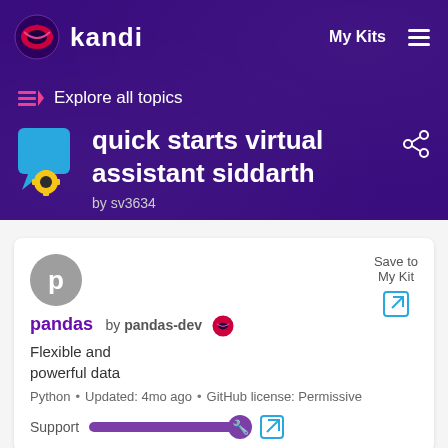[Figure (screenshot): Kandi platform header with logo, My Kits nav, purple background with code pattern]
≡< Explore all topics
quick starts virtual assistant siddarth
by sv3634
p
pandas   by pandas-dev
Save to My Kit
Flexible and powerful data
Python • Updated: 4mo ago • GitHub license: Permissive
Support